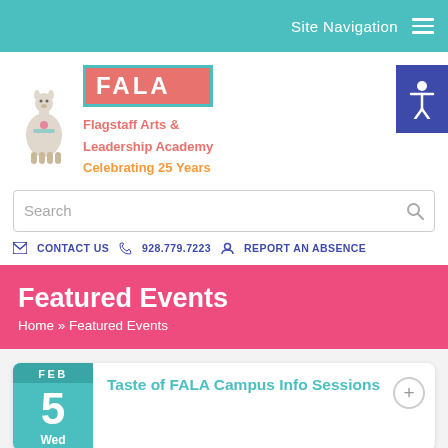Site Navigation
[Figure (logo): FALA - Flagstaff Arts & Leadership Academy logo with llama mascot illustration]
Flagstaff Arts & Leadership Academy Celebrating 25 Years
Search
CONTACT US  928.779.7223  REPORT AN ABSENCE
Featured Events
Home » Featured Events
FEB 5 Wed
Taste of FALA Campus Info Sessions